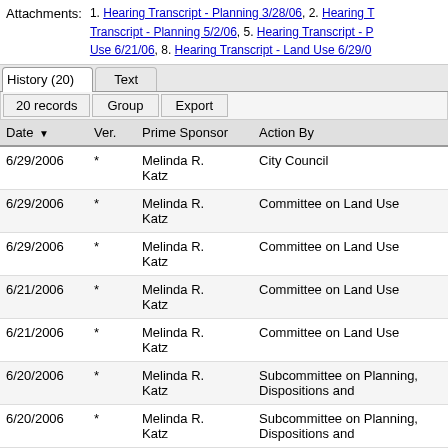Attachments: 1. Hearing Transcript - Planning 3/28/06, 2. Hearing Transcript - Planning 5/2/06, 5. Hearing Transcript - Land Use 6/21/06, 8. Hearing Transcript - Land Use 6/29/0
| Date | Ver. | Prime Sponsor | Action By |
| --- | --- | --- | --- |
| 6/29/2006 | * | Melinda R. Katz | City Council |
| 6/29/2006 | * | Melinda R. Katz | Committee on Land Use |
| 6/29/2006 | * | Melinda R. Katz | Committee on Land Use |
| 6/21/2006 | * | Melinda R. Katz | Committee on Land Use |
| 6/21/2006 | * | Melinda R. Katz | Committee on Land Use |
| 6/20/2006 | * | Melinda R. Katz | Subcommittee on Planning, Dispositions and |
| 6/20/2006 | * | Melinda R. Katz | Subcommittee on Planning, Dispositions and |